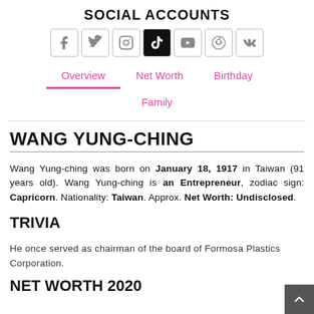SOCIAL ACCOUNTS
[Figure (other): Row of social media icons: Facebook, Twitter, Instagram, TikTok (active/black), YouTube, Reddit, VK]
[Figure (other): Navigation tabs: Overview (active, underlined in pink), Net Worth, Birthday, Family]
WANG YUNG-CHING
Wang Yung-ching was born on January 18, 1917 in Taiwan (91 years old). Wang Yung-ching is an Entrepreneur, zodiac sign: Capricorn. Nationality: Taiwan. Approx. Net Worth: Undisclosed.
TRIVIA
He once served as chairman of the board of Formosa Plastics Corporation.
NET WORTH 2020